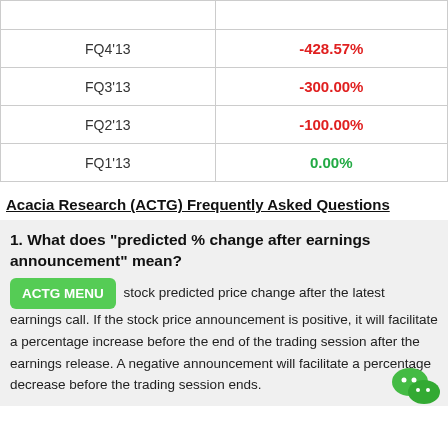|  |  |
| FQ4'13 | -428.57% |
| FQ3'13 | -300.00% |
| FQ2'13 | -100.00% |
| FQ1'13 | 0.00% |
Acacia Research (ACTG) Frequently Asked Questions
1. What does "predicted % change after earnings announcement" mean?
ACTG MENU stock predicted price change after the latest earnings call. If the stock price announcement is positive, it will facilitate a percentage increase before the end of the trading session after the earnings release. A negative announcement will facilitate a percentage decrease before the trading session ends.